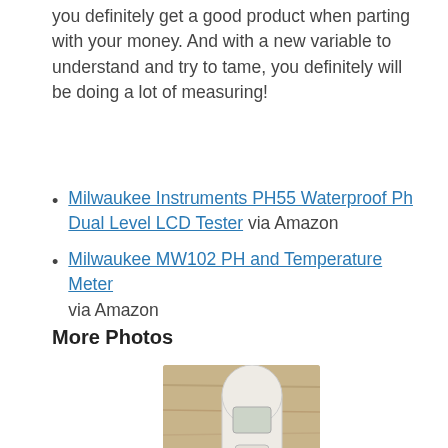you definitely get a good product when parting with your money. And with a new variable to understand and try to tame, you definitely will be doing a lot of measuring!
Milwaukee Instruments PH55 Waterproof Ph Dual Level LCD Tester via Amazon
Milwaukee MW102 PH and Temperature Meter via Amazon
More Photos
[Figure (photo): Photo of a white handheld pH/temperature meter device placed on a wooden surface, showing LCD screen and two buttons]